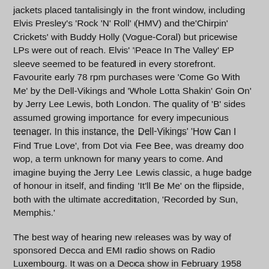jackets placed tantalisingly in the front window, including Elvis Presley's 'Rock 'N' Roll' (HMV) and the'Chirpin' Crickets' with Buddy Holly (Vogue-Coral) but pricewise LPs were out of reach. Elvis' 'Peace In The Valley' EP sleeve seemed to be featured in every storefront. Favourite early 78 rpm purchases were 'Come Go With Me' by the Dell-Vikings and 'Whole Lotta Shakin' Goin On' by Jerry Lee Lewis, both London. The quality of 'B' sides assumed growing importance for every impecunious teenager. In this instance, the Dell-Vikings' 'How Can I Find True Love', from Dot via Fee Bee, was dreamy doo wop, a term unknown for many years to come. And imagine buying the Jerry Lee Lewis classic, a huge badge of honour in itself, and finding 'It'll Be Me' on the flipside, both with the ultimate accreditation, 'Recorded by Sun, Memphis.'
The best way of hearing new releases was by way of sponsored Decca and EMI radio shows on Radio Luxembourg. It was on a Decca show in February 1958 that I heard for the only time 'Maybe' by the Chantels. That was enough for me to place an order at Boyd's and within a week the precious London 45, licensed from End, duly arrived. The investment of 6/7½ yielded a big dividend, on paper at least, with a mint copy showing book price of £300; my copy is well played but such epic records are meant to occupy the record player and be enjoyed. Other London acquisitions from Boyds in this period